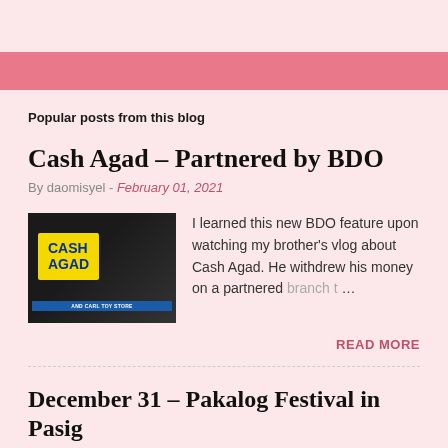Popular posts from this blog
Cash Agad – Partnered by BDO
By daomisyel - February 01, 2021
[Figure (photo): Photo of a Cash Agad signage with yellow background and blue text, with 'AND CARL TOY STORE' text at the bottom.]
I learned this new BDO feature upon watching my brother's vlog about Cash Agad. He withdrew his money on a partnered branch t…
READ MORE
December 31 – Pakalog Festival in Pasig
By daomisyel - January 03, 2012